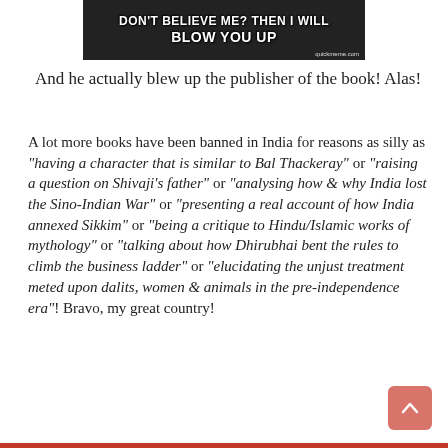[Figure (screenshot): Meme image with dark background showing text: 'DON'T BELIEVE ME? THEN I WILL BLOW YOU UP' with a watermark 'quickmeme.com']
And he actually blew up the publisher of the book! Alas!
A lot more books have been banned in India for reasons as silly as "having a character that is similar to Bal Thackeray" or "raising a question on Shivaji's father" or "analysing how & why India lost the Sino-Indian War" or "presenting a real account of how India annexed Sikkim" or "being a critique to Hindu/Islamic works of mythology" or "talking about how Dhirubhai bent the rules to climb the business ladder" or "elucidating the unjust treatment meted upon dalits, women & animals in the pre-independence era"! Bravo, my great country!